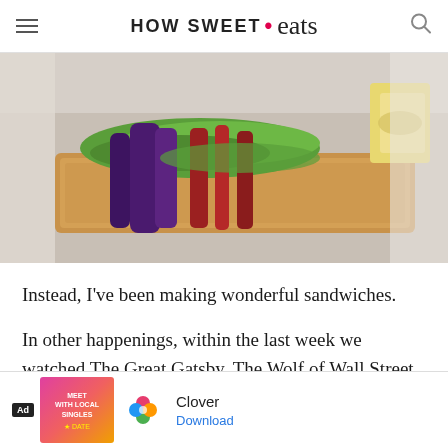HOW SWEET • eats
[Figure (photo): Close-up photo of a sandwich with lettuce, eggplant, bacon/red peppers on toasted bread, with some chips visible on the right side]
Instead, I've been making wonderful sandwiches.
In other happenings, within the last week we watched The Great Gatsby, The Wolf of Wall Street and American Hustle. I now feel forced to ca[llout] 7 crush[...] me
[Figure (screenshot): Ad overlay at bottom: Ad badge, promotional image for dating app, Clover app icon with four-leaf clover, text 'Clover', Download button]